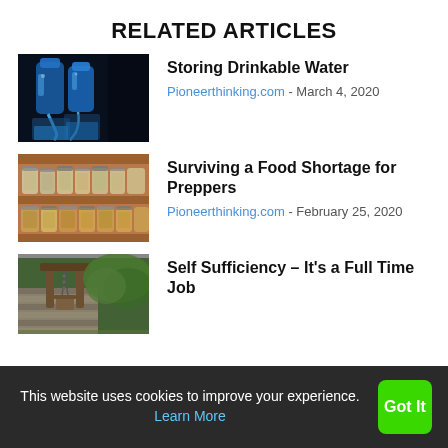RELATED ARTICLES
[Figure (photo): Blue water bottles pouring into glass cups on a dark background]
Storing Drinkable Water
Pioneerthinking.com - March 4, 2020
[Figure (photo): Shelves with glass mason jars filled with preserved foods]
Surviving a Food Shortage for Preppers
Pioneerthinking.com - February 25, 2020
[Figure (photo): Outdoor well or water collection setup with bucket and chain]
Self Sufficiency – It's a Full Time Job
This website uses cookies to improve your experience. Learn More